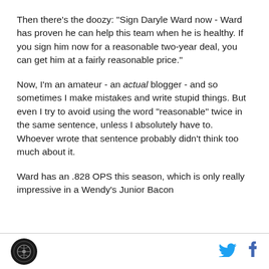Then there's the doozy: "Sign Daryle Ward now - Ward has proven he can help this team when he is healthy. If you sign him now for a reasonable two-year deal, you can get him at a fairly reasonable price."
Now, I'm an amateur - an actual blogger - and so sometimes I make mistakes and write stupid things. But even I try to avoid using the word "reasonable" twice in the same sentence, unless I absolutely have to. Whoever wrote that sentence probably didn't think too much about it.
Ward has an .828 OPS this season, which is only really impressive in a Wendy's Junior Bacon
[logo] [twitter] [facebook]